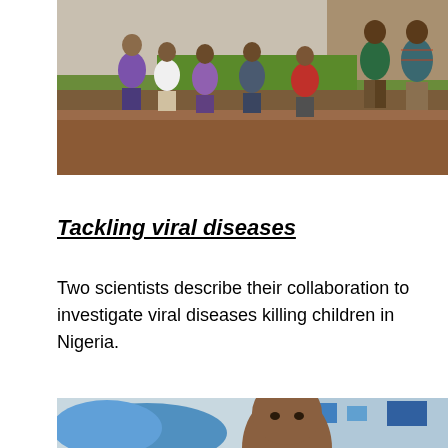[Figure (photo): Children playing outside near a wall and green grass on a dirt path in what appears to be a African setting. Multiple children visible, some in colorful clothing.]
Tackling viral diseases
Two scientists describe their collaboration to investigate viral diseases killing children in Nigeria.
[Figure (photo): A scientist wearing blue gloves in a laboratory setting, partially visible from the bottom of the page.]